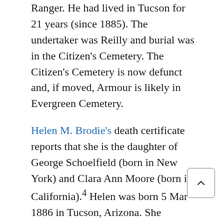Ranger. He had lived in Tucson for 21 years (since 1885). The undertaker was Reilly and burial was in the Citizen's Cemetery. The Citizen's Cemetery is now defunct and, if moved, Armour is likely in Evergreen Cemetery.
Helen M. Brodie's death certificate reports that she is the daughter of George Schoelfield (born in New York) and Clara Ann Moore (born in California).4 Helen was born 5 Mar 1886 in Tucson, Arizona. She married and later divorced Max Brodie. She was a white, retired dept. assessor and died at home at 827 East Adelaide which was inside Tucson city